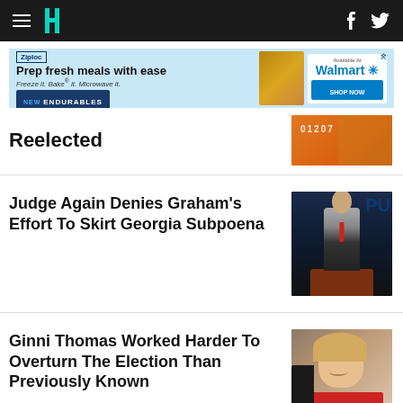HuffPost navigation
[Figure (photo): Ziploc advertisement banner: Prep fresh meals with ease, Freeze it. Bake it. Microwave it. NEW ENDURABLES, Available at Walmart]
Reelected
[Figure (photo): Person in orange prison jumpsuit with number 01207]
Judge Again Denies Graham's Effort To Skirt Georgia Subpoena
[Figure (photo): Man in dark suit with red tie at podium, dark blue background]
Ginni Thomas Worked Harder To Overturn The Election Than Previously Known
[Figure (photo): Ginni Thomas smiling, people visible in background]